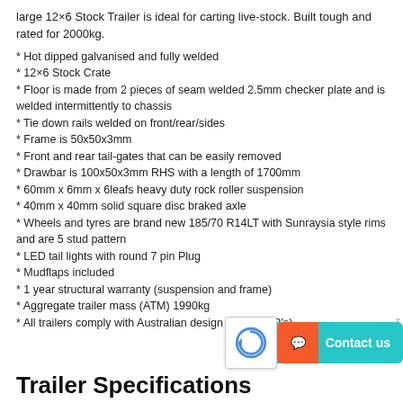large 12×6 Stock Trailer is ideal for carting live-stock. Built tough and rated for 2000kg.
* Hot dipped galvanised and fully welded
* 12×6 Stock Crate
* Floor is made from 2 pieces of seam welded 2.5mm checker plate and is welded intermittently to chassis
* Tie down rails welded on front/rear/sides
* Frame is 50x50x3mm
* Front and rear tail-gates that can be easily removed
* Drawbar is 100x50x3mm RHS with a length of 1700mm
* 60mm x 6mm x 6leafs heavy duty rock roller suspension
* 40mm x 40mm solid square disc braked axle
* Wheels and tyres are brand new 185/70 R14LT with Sunraysia style rims and are 5 stud pattern
* LED tail lights with round 7 pin Plug
* Mudflaps included
* 1 year structural warranty (suspension and frame)
* Aggregate trailer mass (ATM) 1990kg
* All trailers comply with Australian design rules (ADR's)
Trailer Specifications